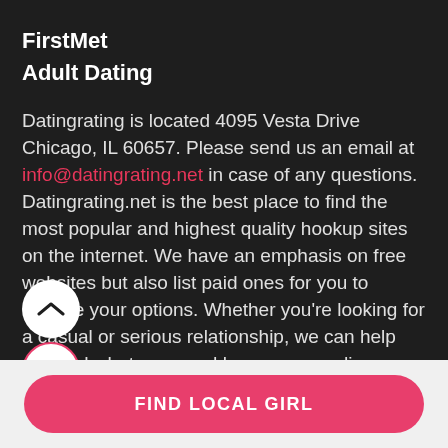FirstMet
Adult Dating
Datingrating is located 4095 Vesta Drive Chicago, IL 60657. Please send us an email at info@datingrating.net in case of any questions. Datingrating.net is the best place to find the most popular and highest quality hookup sites on the internet. We have an emphasis on free websites but also list paid ones for you to explore your options. Whether you're looking for a casual or serious relationship, we can help you find what you need by recommending different dating sites based on your
FIND LOCAL GIRL